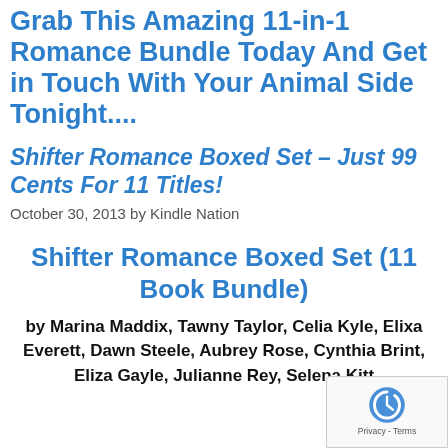Grab This Amazing 11-in-1 Romance Bundle Today And Get in Touch With Your Animal Side Tonight....
Shifter Romance Boxed Set – Just 99 Cents For 11 Titles!
October 30, 2013 by Kindle Nation
Shifter Romance Boxed Set (11 Book Bundle)
by Marina Maddix, Tawny Taylor, Celia Kyle, Elixa Everett, Dawn Steele, Aubrey Rose, Cynthia Brint, Eliza Gayle, Julianne Rey, Selena Kitt